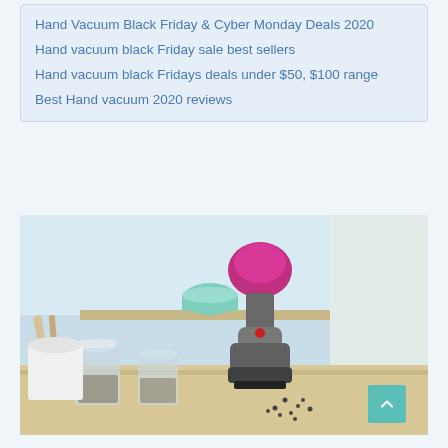Hand Vacuum Black Friday & Cyber Monday Deals 2020
Hand vacuum black Friday sale best sellers
Hand vacuum black Fridays deals under $50, $100 range
Best Hand vacuum 2020 reviews
[Figure (photo): A person using a pink and grey Dyson handheld vacuum cleaner on a kitchen countertop, cleaning up scattered coffee grounds near glass jars, with a kitchen shelf visible in the background.]